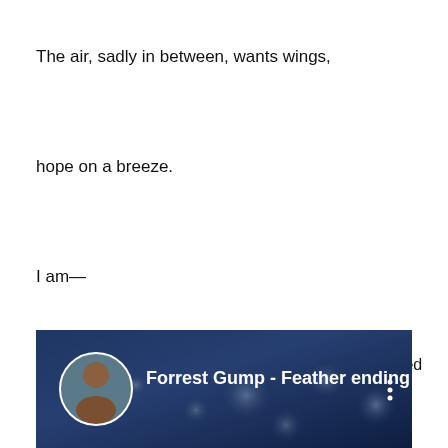The air, sadly in between, wants wings,
hope on a breeze.
I am—
-Maria Pisciotta-DellaPorte ©2017 All Rights Reserved
[Figure (screenshot): YouTube video thumbnail showing 'Forrest Gump - Feather ending' with a profile photo avatar and a blurred blue sky background with bokeh lights.]